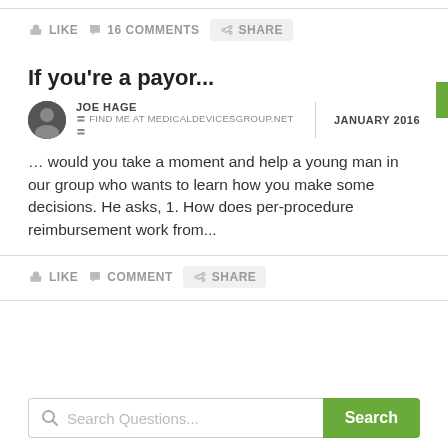LIKE  16 COMMENTS  SHARE
If you're a payor...
JOE HAGE
〓 FIND ME AT MEDICALDEVICESGROUP.NET 〓
JANUARY 2016
… would you take a moment and help a young man in our group who wants to learn how you make some decisions. He asks, 1. How does per-procedure reimbursement work from...
LIKE  COMMENT  SHARE
Search Questions...